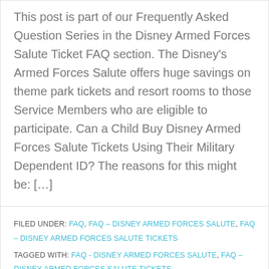This post is part of our Frequently Asked Question Series in the Disney Armed Forces Salute Ticket FAQ section. The Disney's Armed Forces Salute offers huge savings on theme park tickets and resort rooms to those Service Members who are eligible to participate. Can a Child Buy Disney Armed Forces Salute Tickets Using Their Military Dependent ID? The reasons for this might be: [...]
FILED UNDER: FAQ, FAQ – DISNEY ARMED FORCES SALUTE, FAQ – DISNEY ARMED FORCES SALUTE TICKETS
TAGGED WITH: FAQ - DISNEY ARMED FORCES SALUTE, FAQ – DISNEY ARMED FORCES SALUTE TICKETS